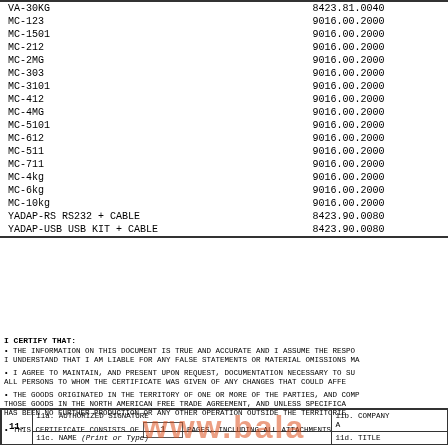| Product | HTS Code |
| --- | --- |
| VA-30KG | 8423.81.0040 |
| MC-123 | 9016.00.2000 |
| MC-1501 | 9016.00.2000 |
| MC-212 | 9016.00.2000 |
| MC-2MG | 9016.00.2000 |
| MC-303 | 9016.00.2000 |
| MC-3101 | 9016.00.2000 |
| MC-412 | 9016.00.2000 |
| MC-4MG | 9016.00.2000 |
| MC-5101 | 9016.00.2000 |
| MC-612 | 9016.00.2000 |
| MC-511 | 9016.00.2000 |
| MC-711 | 9016.00.2000 |
| MC-4kg | 9016.00.2000 |
| MC-6kg | 9016.00.2000 |
| MC-10kg | 9016.00.2000 |
| YADAP-RS RS232 + CABLE | 8423.90.0080 |
| YADAP-USB USB KIT + CABLE | 8423.90.0080 |
I CERTIFY THAT:
• THE INFORMATION ON THIS DOCUMENT IS TRUE AND ACCURATE AND I ASSUME THE RESPONSIBILITY FOR PROVING SUCH REPRESENTATIONS. I UNDERSTAND THAT I AM LIABLE FOR ANY FALSE STATEMENTS OR MATERIAL OMISSIONS MADE ON OR IN CONNECTION WITH THIS DOCUMENT;
• I AGREE TO MAINTAIN, AND PRESENT UPON REQUEST, DOCUMENTATION NECESSARY TO SUPPORT THIS CERTIFICATE, AND TO INFORM, IN WRITING, ALL PERSONS TO WHOM THE CERTIFICATE WAS GIVEN OF ANY CHANGES THAT COULD AFFECT THE ACCURACY OR VALIDITY OF THIS CERTIFICATE;
• THE GOODS ORIGINATED IN THE TERRITORY OF ONE OR MORE OF THE PARTIES, AND COMPLY WITH THE ORIGIN REQUIREMENTS SPECIFIED FOR THOSE GOODS IN THE NORTH AMERICAN FREE TRADE AGREEMENT, AND UNLESS SPECIFICALLY EXEMPTED IN ARTICLE 411 OR ANNEX 401, THERE HAS BEEN NO FURTHER PRODUCTION OR ANY OTHER OPERATION OUTSIDE THE TERRITORIES OF THE PARTIES AS PROVIDED IN ARTICLE 411(b);
• THIS CERTIFICATE CONSISTS OF 1 PAGES, INCLUDING ALL ATTACHMENTS.
| 11. | 11a. AUTHORIZED SIGNATURE | 11b. COMPANY | 11c. NAME (Print or Type) | 11d. TITLE |
| --- | --- | --- | --- | --- |